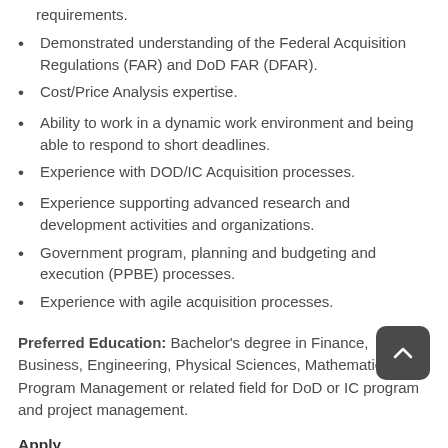requirements.
Demonstrated understanding of the Federal Acquisition Regulations (FAR) and DoD FAR (DFAR).
Cost/Price Analysis expertise.
Ability to work in a dynamic work environment and being able to respond to short deadlines.
Experience with DOD/IC Acquisition processes.
Experience supporting advanced research and development activities and organizations.
Government program, planning and budgeting and execution (PPBE) processes.
Experience with agile acquisition processes.
Preferred Education: Bachelor's degree in Finance, Business, Engineering, Physical Sciences, Mathematics, Program Management or related field for DoD or IC program and project management.
Apply